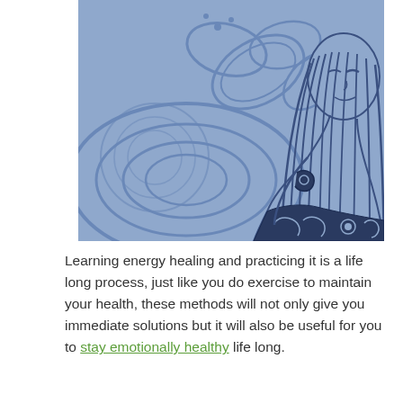[Figure (illustration): Illustration on a light blue/periwinkle background showing a woman meditating with long hair, eyes closed, wearing a patterned top, with a large decorative mandala design behind her. The artwork is rendered in darker blue outlines on the light blue background.]
Learning energy healing and practicing it is a life long process, just like you do exercise to maintain your health, these methods will not only give you immediate solutions but it will also be useful for you to stay emotionally healthy life long.